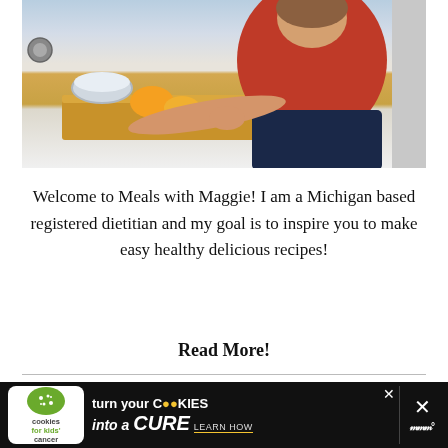[Figure (photo): A woman in a red top and dark jeans leaning over a wooden cutting board with orange slices, in a kitchen setting with a metal bowl nearby.]
Welcome to Meals with Maggie! I am a Michigan based registered dietitian and my goal is to inspire you to make easy healthy delicious recipes!
Read More!
[Figure (infographic): Advertisement banner: 'cookies for kids cancer' logo with text 'turn your COOKIES into a CURE LEARN HOW' on black background with X/close buttons.]